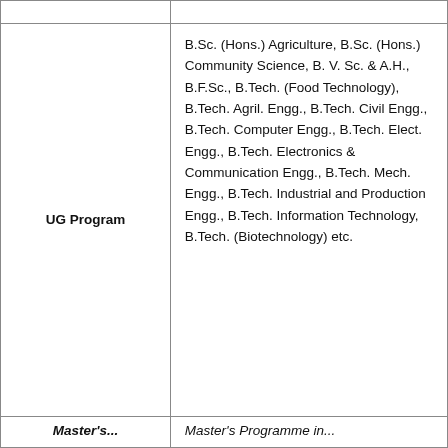|  |  |
| --- | --- |
| UG Program | B.Sc. (Hons.) Agriculture, B.Sc. (Hons.) Community Science, B. V. Sc. & A.H., B.F.Sc., B.Tech. (Food Technology), B.Tech. Agril. Engg., B.Tech. Civil Engg., B.Tech. Computer Engg., B.Tech. Elect. Engg., B.Tech. Electronics & Communication Engg., B.Tech. Mech. Engg., B.Tech. Industrial and Production Engg., B.Tech. Information Technology, B.Tech. (Biotechnology) etc. |
| Master's... | Master's Programme in... |